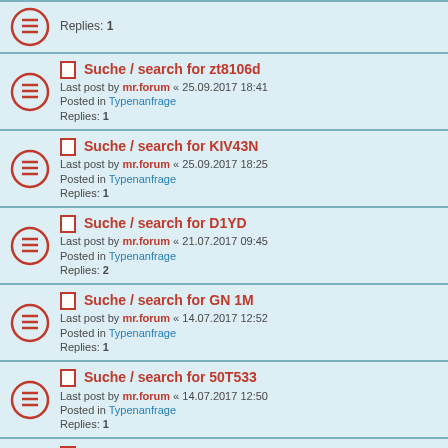Replies: 1
Suche / search for zt8106d
Last post by mr.forum « 25.09.2017 18:41
Posted in Typenanfrage
Replies: 1
Suche / search for KIV43N
Last post by mr.forum « 25.09.2017 18:25
Posted in Typenanfrage
Replies: 1
Suche / search for D1YD
Last post by mr.forum « 21.07.2017 09:45
Posted in Typenanfrage
Replies: 2
Suche / search for GN 1M
Last post by mr.forum « 14.07.2017 12:52
Posted in Typenanfrage
Replies: 1
Suche / search for 50T533
Last post by mr.forum « 14.07.2017 12:50
Posted in Typenanfrage
Replies: 1
Suche / search for Transistor
Last post by mr.forum « 26.06.2017 09:36
Posted in Typenanfrage
Replies: 1
Suche / search for TV60D
Last post by mr.forum « 07.06.2017 19:23
Posted in Typenanfrage
Replies: 1
Suche / search for UX11V20
Last post by mr.forum « 07.06.2017 19:17
Posted in Typenanfrage